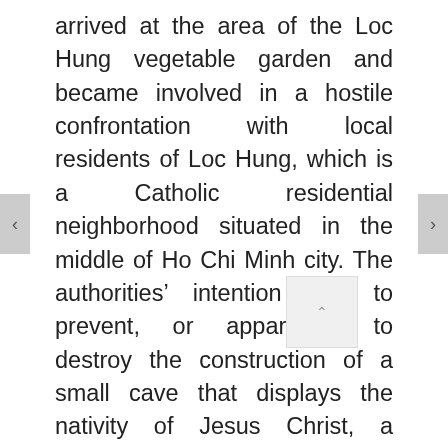arrived at the area of the Loc Hung vegetable garden and became involved in a hostile confrontation with local residents of Loc Hung, which is a Catholic residential neighborhood situated in the middle of Ho Chi Minh city. The authorities' intention was to prevent, or apparently, to destroy the construction of a small cave that displays the nativity of Jesus Christ, a common Christian custom. After high-profile forced evictions in early 2019 left hundreds of Loc Hung residents– many of them political activists– homeless with neither compensation for the lost land nor the benefit of a resettlement program, the representation of the nativity of Jesus Christ at the destroyed area is just a symbol for